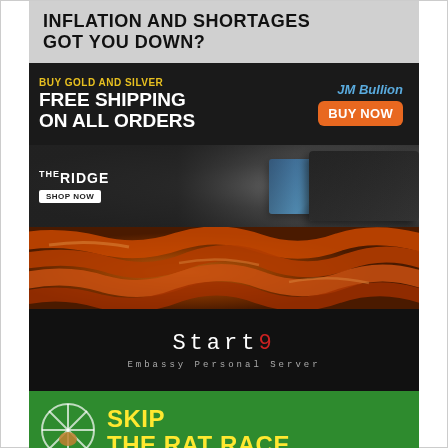[Figure (illustration): Ad banner: 'INFLATION AND SHORTAGES GOT YOU DOWN?' in bold black text on grey background]
[Figure (illustration): JM Bullion ad: 'BUY GOLD AND SILVER FREE SHIPPING ON ALL ORDERS' with orange BUY NOW button on dark background]
[Figure (illustration): The Ridge wallet ad: Ridge logo with SHOP NOW button, wallets displayed on textured background]
[Figure (photo): Photo of bacon strips cooking in a pan]
[Figure (illustration): Start9 Embassy Personal Server ad in monospace font on black background]
[Figure (illustration): Skip The Rat Race ad in yellow text on green background with hamster wheel icon]
[Figure (illustration): Wealthsteading Podcast ad with W$ logo on black background]